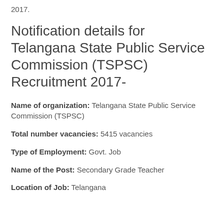2017.
Notification details for Telangana State Public Service Commission (TSPSC) Recruitment 2017-
Name of organization: Telangana State Public Service Commission (TSPSC)
Total number vacancies: 5415 vacancies
Type of Employment: Govt. Job
Name of the Post: Secondary Grade Teacher
Location of Job: Telangana